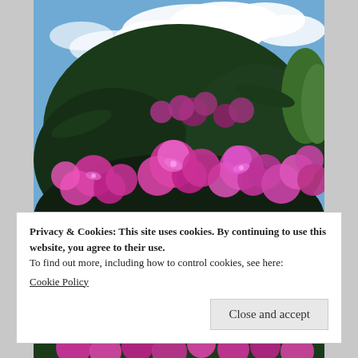[Figure (photo): Photograph of bright pink/magenta rhododendron flowers in bloom against a partly cloudy blue sky, with dark green leaves and trees in the background. Shot from below looking upward.]
Privacy & Cookies: This site uses cookies. By continuing to use this website, you agree to their use.
To find out more, including how to control cookies, see here:
Cookie Policy
Close and accept
[Figure (photo): Partial view of another photo of pink/magenta rhododendron flowers, visible at the bottom of the page.]